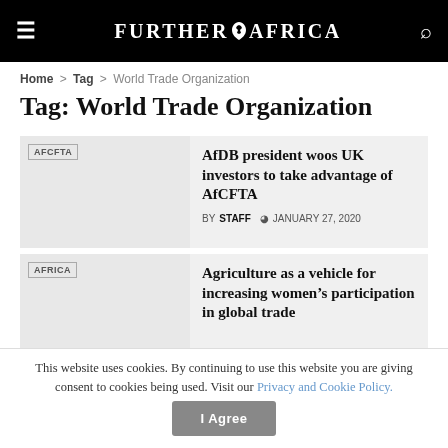FURTHER AFRICA
Home > Tag > World Trade Organization
Tag: World Trade Organization
[Figure (other): Article thumbnail placeholder with AFCFTA tag badge, light gray background]
AfDB president woos UK investors to take advantage of AfCFTA
BY STAFF  JANUARY 27, 2020
[Figure (other): Article thumbnail placeholder with AFRICA tag badge, light gray background]
Agriculture as a vehicle for increasing women’s participation in global trade
This website uses cookies. By continuing to use this website you are giving consent to cookies being used. Visit our Privacy and Cookie Policy.